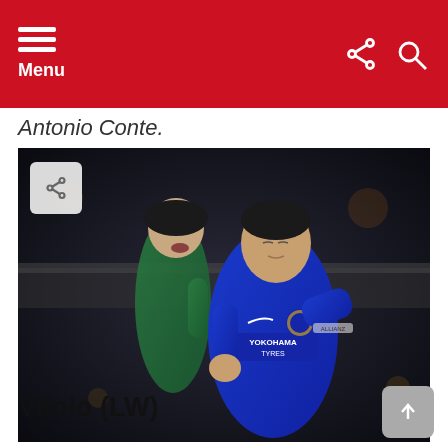Menu
Antonio Conte.
[Figure (photo): Alvaro Morata in Chelsea blue jersey (Yokohama Tyres sponsor) celebrating with fist raised, goalkeeper Petr Cech in background wearing black cap and green kit, stadium crowd behind]
Alvaro Morata
Vitolo (LW)